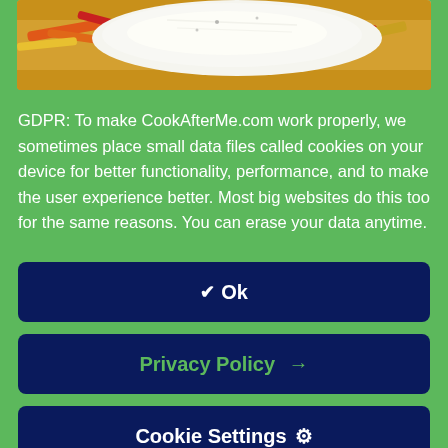[Figure (photo): Food photo showing a piece of white fish fillet on top of colorful vegetable strips (orange, red, yellow peppers) with a light sauce]
GDPR: To make CookAfterMe.com work properly, we sometimes place small data files called cookies on your device for better functionality, performance, and to make the user experience better. Most big websites do this too for the same reasons. You can erase your data anytime.
✔ Ok
Privacy Policy →
Cookie Settings ⚙